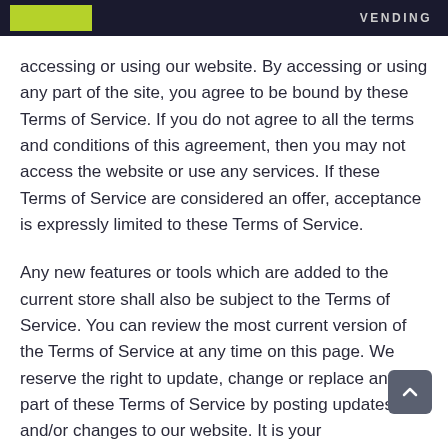VENDING
accessing or using our website. By accessing or using any part of the site, you agree to be bound by these Terms of Service. If you do not agree to all the terms and conditions of this agreement, then you may not access the website or use any services. If these Terms of Service are considered an offer, acceptance is expressly limited to these Terms of Service.
Any new features or tools which are added to the current store shall also be subject to the Terms of Service. You can review the most current version of the Terms of Service at any time on this page. We reserve the right to update, change or replace any part of these Terms of Service by posting updates and/or changes to our website. It is your